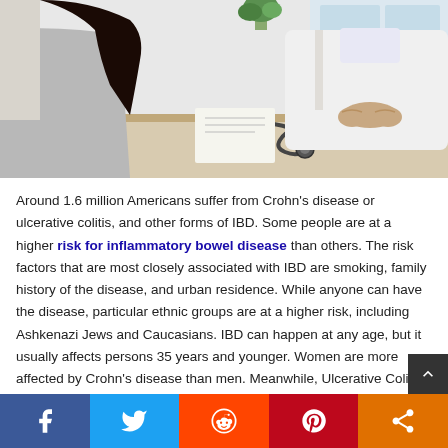[Figure (photo): A patient with dark hair seen from behind sitting across a desk from a doctor in a white coat in a clinical/office setting. A stethoscope is on the desk.]
Around 1.6 million Americans suffer from Crohn's disease or ulcerative colitis, and other forms of IBD. Some people are at a higher risk for inflammatory bowel disease than others. The risk factors that are most closely associated with IBD are smoking, family history of the disease, and urban residence. While anyone can have the disease, particular ethnic groups are at a higher risk, including Ashkenazi Jews and Caucasians. IBD can happen at any age, but it usually affects persons 35 years and younger. Women are more affected by Crohn's disease than men. Meanwhile, Ulcerative Colitis has a higher incidence am